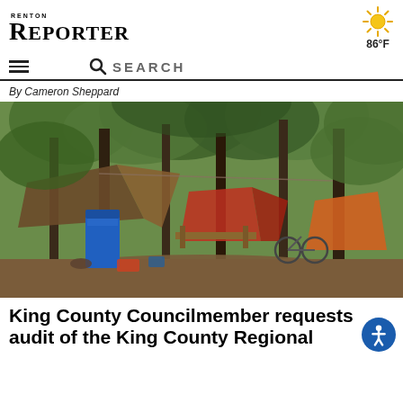RENTON REPORTER
86°F
☰  🔍 SEARCH
By Cameron Sheppard
[Figure (photo): Outdoor homeless encampment in a forested area with tents, tarps, a blue bin, bicycles, and personal belongings scattered among trees.]
King County Councilmember requests audit of the King County Regional